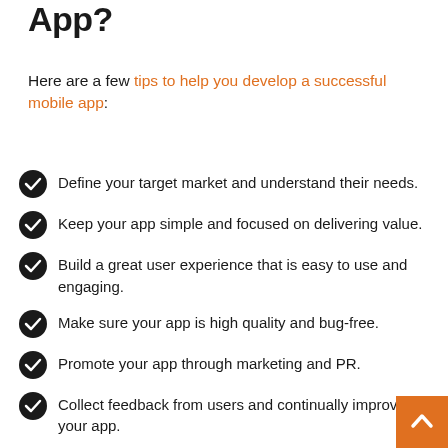App?
Here are a few tips to help you develop a successful mobile app:
Define your target market and understand their needs.
Keep your app simple and focused on delivering value.
Build a great user experience that is easy to use and engaging.
Make sure your app is high quality and bug-free.
Promote your app through marketing and PR.
Collect feedback from users and continually improve your app.
Always be prepared to adapt to changes in the marke…